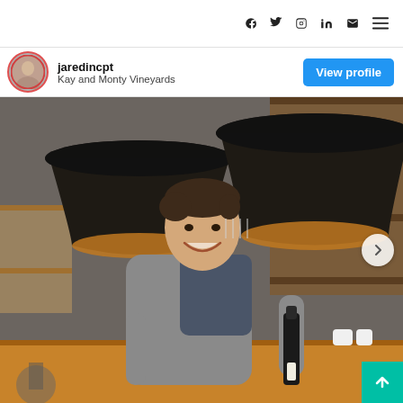Social media icons: facebook, twitter, instagram, linkedin, email, menu
jaredincpt
Kay and Monty Vineyards
View profile
[Figure (photo): A smiling man in a grey puffer vest holding a wine bottle, standing inside a wine bar or cellar with dark pendant lights overhead and wooden shelving in the background.]